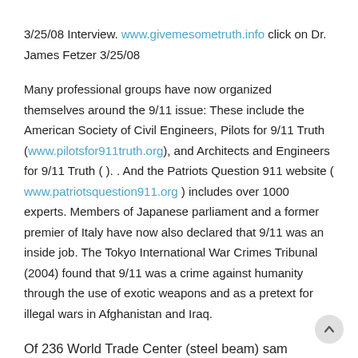3/25/08 Interview. www.givemesometruth.info click on Dr. James Fetzer 3/25/08
Many professional groups have now organized themselves around the 9/11 issue: These include the American Society of Civil Engineers, Pilots for 9/11 Truth (www.pilotsfor911truth.org), and Architects and Engineers for 9/11 Truth ( ). . And the Patriots Question 911 website ( www.patriotsquestion911.org ) includes over 1000 experts. Members of Japanese parliament and a former premier of Italy have now also declared that 9/11 was an inside job. The Tokyo International War Crimes Tribunal (2004) found that 9/11 was a crime against humanity through the use of exotic weapons and as a pretext for illegal wars in Afghanistan and Iraq.
Of 236 World Trade Center (steel beam) samples analyzed by NIST (National Institute for Standards